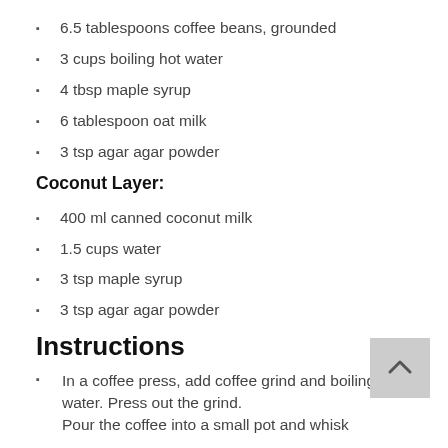6.5 tablespoons coffee beans, grounded
3 cups boiling hot water
4 tbsp maple syrup
6 tablespoon oat milk
3 tsp agar agar powder
Coconut Layer:
400 ml canned coconut milk
1.5 cups water
3 tsp maple syrup
3 tsp agar agar powder
Instructions
In a coffee press, add coffee grind and boiling hot water. Press out the grind. Pour the coffee into a small pot and whisk